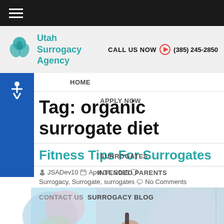≡ (hamburger menu)
[Figure (logo): Utah Surrogacy Agency logo with teal icon and text]
CALL US NOW ▶ (385) 245-2850
HOME   APPLY NOW   SURROGATES   INTENDED PARENTS   CONTACT US   SURROGACY BLOG
Tag: organic surrogate diet
Fitness Tips For Surrogates
JSADev10   April 14, 2015   Surrogacy, Surrogate, surrogates   No Comments
[Figure (photo): Pregnant woman holding microphone near belly, light blue background]